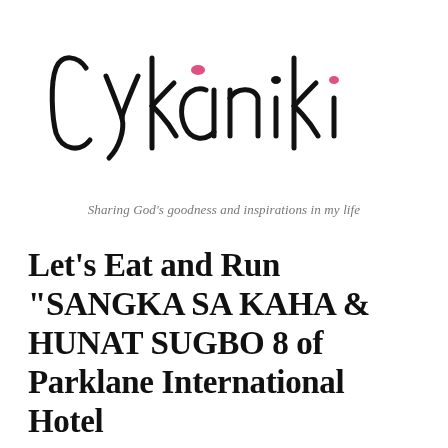[Figure (logo): Cykaniki blog logo in handwritten/cursive script with pink accent dots on letters 'a' and 'i']
Sharing God's goodness and inspirations in my life
Let's Eat and Run "SANGKA SA KAHA & HUNAT SUGBO 8 of Parklane International Hotel
Peace, hello my loves, how are you? I've been